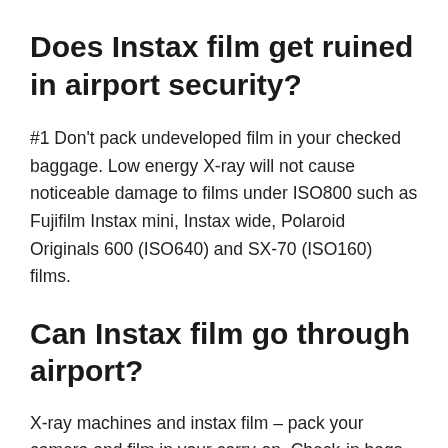Does Instax film get ruined in airport security?
#1 Don't pack undeveloped film in your checked baggage. Low energy X-ray will not cause noticeable damage to films under ISO800 such as Fujifilm Instax mini, Instax wide, Polaroid Originals 600 (ISO640) and SX-70 (ISO160) films.
Can Instax film go through airport?
X-ray machines and instax film – pack your camera and film in your carry-on. Check-in bags go through x-rays that are much stronger than the radiation used for carry-on luggage and can ruin film. If you're still concerned, you can ask for your film to be hand-checked.